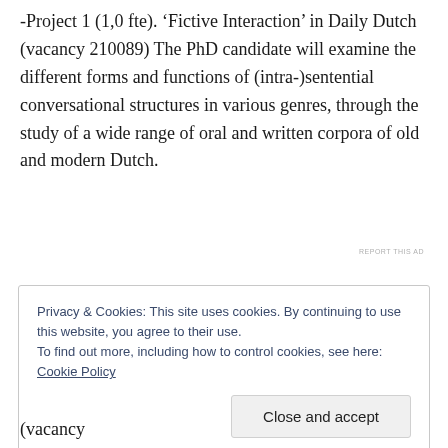-Project 1 (1,0 fte). ‘Fictive Interaction’ in Daily Dutch (vacancy 210089) The PhD candidate will examine the different forms and functions of (intra-)sentential conversational structures in various genres, through the study of a wide range of oral and written corpora of old and modern Dutch.
REPORT THIS AD
Privacy & Cookies: This site uses cookies. By continuing to use this website, you agree to their use.
To find out more, including how to control cookies, see here: Cookie Policy
Close and accept
(vacancy